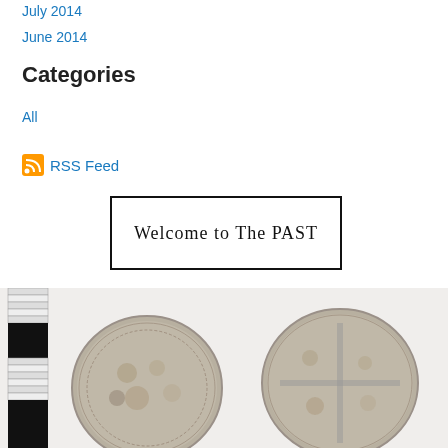July 2014
June 2014
Categories
All
RSS Feed
[Figure (logo): Welcome to The PAST banner in gothic/blackletter font, black border rectangle]
[Figure (photo): Two ancient silver coins shown side by side with a black-and-white scale ruler on the left edge]